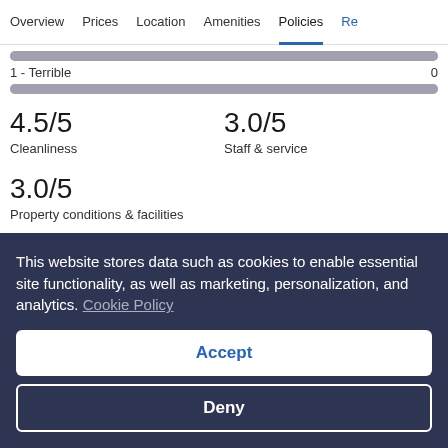Overview  Prices  Location  Amenities  Policies  Re
1 - Terrible  0
4.5/5
Cleanliness
3.0/5
Staff & service
3.0/5
Property conditions & facilities
This website stores data such as cookies to enable essential site functionality, as well as marketing, personalization, and analytics. Cookie Policy
Accept
Deny